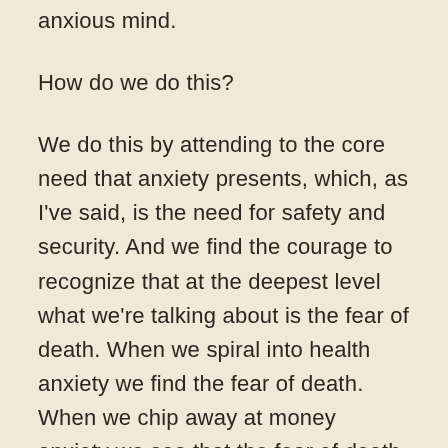anxious mind.
How do we do this?
We do this by attending to the core need that anxiety presents, which, as I've said, is the need for safety and security. And we find the courage to recognize that at the deepest level what we're talking about is the fear of death. When we spiral into health anxiety we find the fear of death. When we chip away at money anxiety we see that the fear of death lies at the core. So we come now to the deepest fear that human beings must face, and one that our modern culture fails